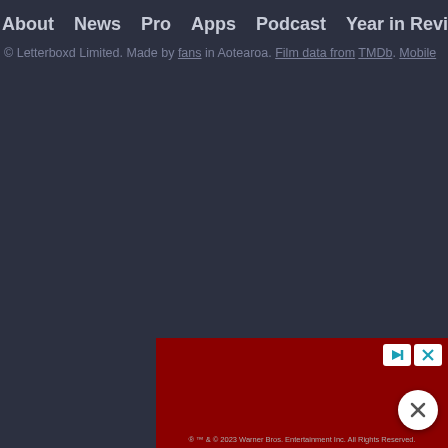About   News   Pro   Apps   Podcast   Year in Review   Gif
© Letterboxd Limited. Made by fans in Aotearoa. Film data from TMDb. Mobile
[Figure (other): Advertisement banner with dark red background and ad control buttons (play/skip and close icons) plus a close button circle on the right]